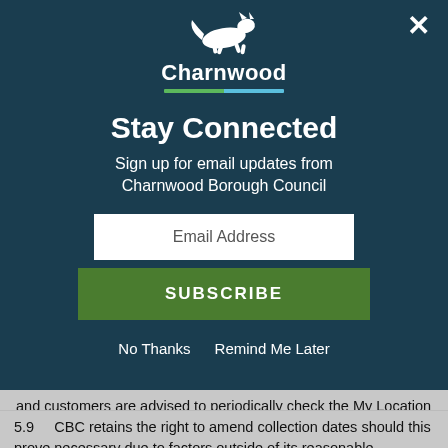[Figure (logo): Charnwood Borough Council logo with running fox silhouette and colored underline]
Stay Connected
Sign up for email updates from Charnwood Borough Council
[Figure (screenshot): Email address input field (white rectangle with placeholder text 'Email Address')]
[Figure (screenshot): Green SUBSCRIBE button]
No Thanks   Remind Me Later
and customers are advised to periodically check the My Location section of The Councils website for details.
5.9      CBC retains the right to amend collection dates should this prove necessary due to factors outside of its reasonable